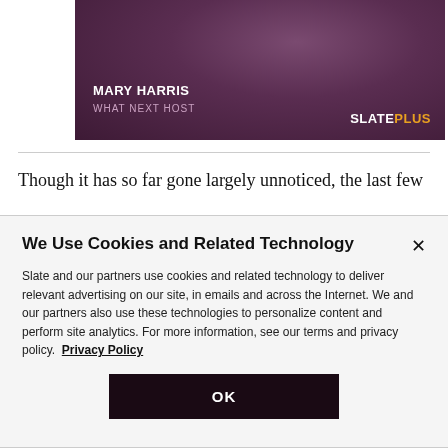[Figure (photo): Promotional image for Slate Plus featuring Mary Harris, What Next Host, with a purple-toned portrait photo and the Slate Plus logo in orange and white text.]
Though it has so far gone largely unnoticed, the last few
We Use Cookies and Related Technology
Slate and our partners use cookies and related technology to deliver relevant advertising on our site, in emails and across the Internet. We and our partners also use these technologies to personalize content and perform site analytics. For more information, see our terms and privacy policy.  Privacy Policy
OK